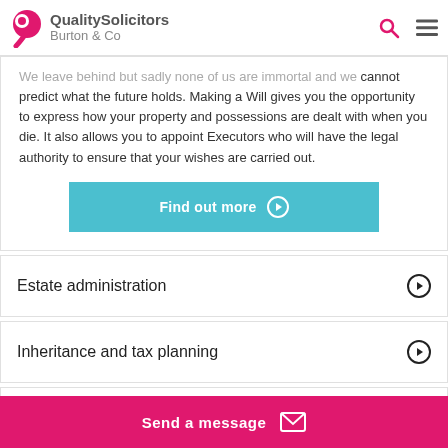QualitySolicitors Burton & Co
We leave behind but sadly none of us are immortal and we cannot predict what the future holds. Making a Will gives you the opportunity to express how your property and possessions are dealt with when you die. It also allows you to appoint Executors who will have the legal authority to ensure that your wishes are carried out.
Estate administration
Inheritance and tax planning
Power of attorney
Send a message